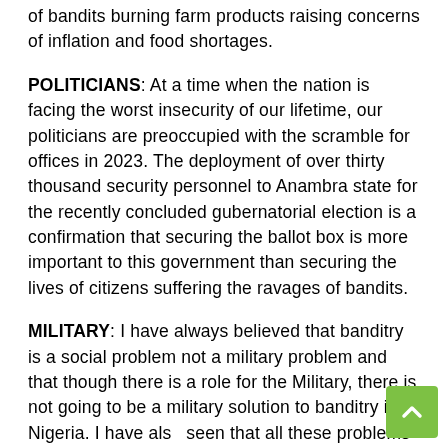of bandits burning farm products raising concerns of inflation and food shortages.
POLITICIANS: At a time when the nation is facing the worst insecurity of our lifetime, our politicians are preoccupied with the scramble for offices in 2023. The deployment of over thirty thousand security personnel to Anambra state for the recently concluded gubernatorial election is a confirmation that securing the ballot box is more important to this government than securing the lives of citizens suffering the ravages of bandits.
MILITARY: I have always believed that banditry is a social problem not a military problem and that though there is a role for the Military, there is not going to be a military solution to banditry in Nigeria. I have also seen that all these problems and their causes are